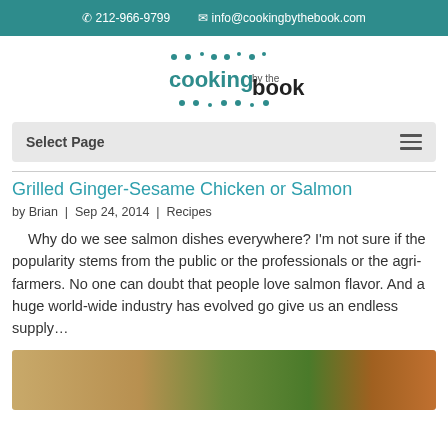📞 212-966-9799   ✉ info@cookingbythebook.com
[Figure (logo): Cooking by the book logo with teal dots and stylized text]
Select Page
Grilled Ginger-Sesame Chicken or Salmon
by Brian | Sep 24, 2014 | Recipes
Why do we see salmon dishes everywhere? I'm not sure if the popularity stems from the public or the professionals or the agri-farmers. No one can doubt that people love salmon flavor. And a huge world-wide industry has evolved go give us an endless supply…
[Figure (photo): Food photo showing salmon or chicken dish with greens]